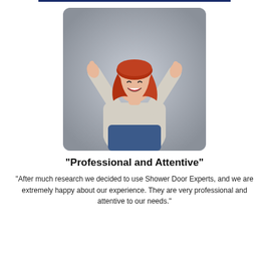[Figure (photo): Woman with red hair giving two thumbs up, smiling/cheering, wearing a light grey sweater and blue jeans, on a grey background. Photo is in a rounded rectangle frame.]
"Professional and Attentive"
“After much research we decided to use Shower Door Experts, and we are extremely happy about our experience. They are very professional and attentive to our needs.”